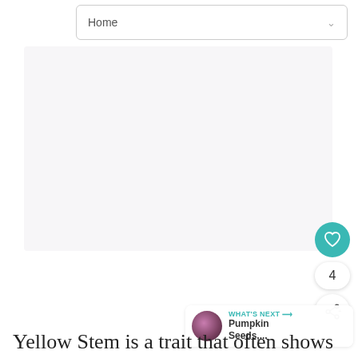Home
[Figure (other): Large blank/white content area, likely an article or image placeholder]
4
WHAT'S NEXT → Pumpkin Seeds,...
Yellow Stem is a trait that often shows up in